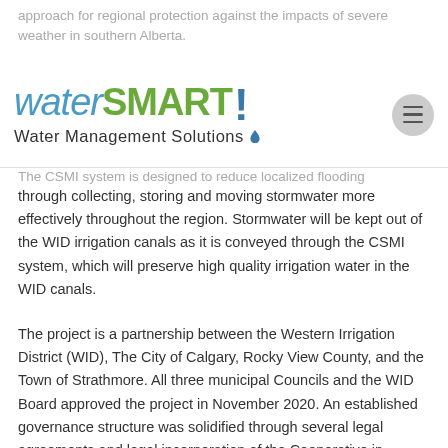approach for regional protection against the impacts of severe weather in southern Alberta.
[Figure (logo): waterSMART! Water Management Solutions logo with blue water drop]
The CSMI system is designed to reduce localized flooding through collecting, storing and moving stormwater more effectively throughout the region. Stormwater will be kept out of the WID irrigation canals as it is conveyed through the CSMI system, which will preserve high quality irrigation water in the WID canals.
The project is a partnership between the Western Irrigation District (WID), The City of Calgary, Rocky View County, and the Town of Strathmore. All three municipal Councils and the WID Board approved the project in November 2020. An established governance structure was solidified through several legal agreements and legal incorporation of the Cooperative in December 2020, marking a major milestone for this project that has been over a decade in development.